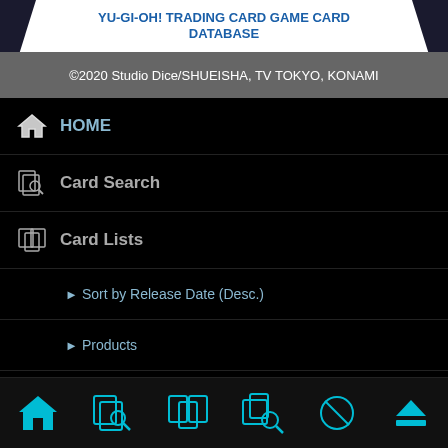YU-GI-OH! TRADING CARD GAME CARD DATABASE
©2020 Studio Dice/SHUEISHA, TV TOKYO, KONAMI
HOME
Card Search
Card Lists
Sort by Release Date (Desc.)
Products
Perks/Bundles
Deck Search